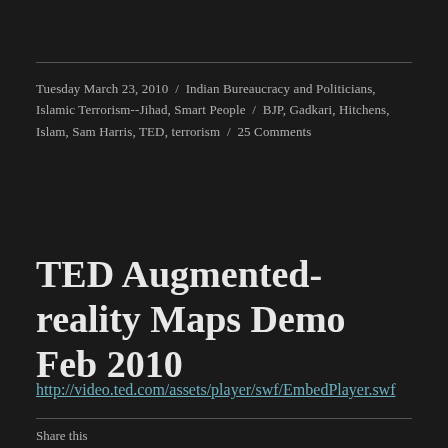Tuesday March 23, 2010 / Indian Bureaucracy and Politicians, Islamic Terrorism--Jihad, Smart People / BJP, Gadkari, Hitchens, Islam, Sam Harris, TED, terrorism / 25 Comments
TED Augmented-reality Maps Demo Feb 2010
http://video.ted.com/assets/player/swf/EmbedPlayer.swf
Share this